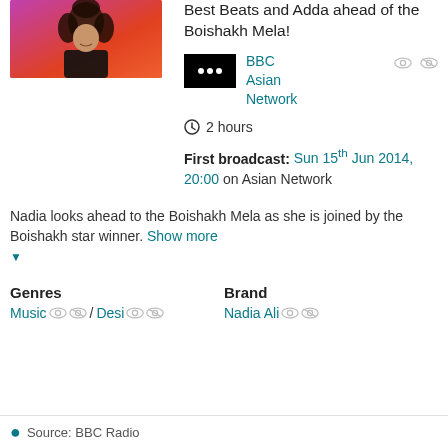[Figure (photo): Photo of a woman with curly dark hair against an orange/pink background]
Best Beats and Adda ahead of the Boishakh Mela!
[Figure (logo): BBC Asian Network logo - black rectangle with white dots]
BBC Asian Network
2 hours
First broadcast: Sun 15th Jun 2014, 20:00 on Asian Network
Nadia looks ahead to the Boishakh Mela as she is joined by the Boishakh star winner. Show more
Genres
Music / Desi
Brand
Nadia Ali
Source: BBC Radio